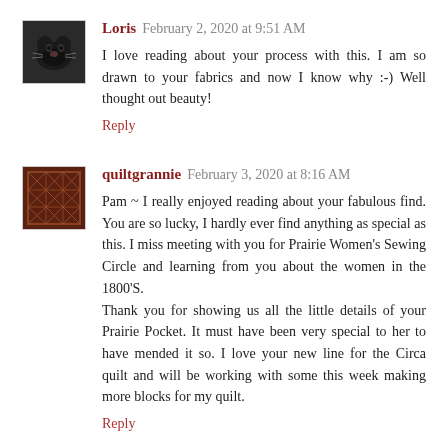[Figure (photo): Avatar photo of commenter Loris showing a dark cat]
Loris February 2, 2020 at 9:51 AM
I love reading about your process with this. I am so drawn to your fabrics and now I know why :-) Well thought out beauty!
Reply
[Figure (photo): Avatar image of commenter quiltgrannie showing a quilt pattern]
quiltgrannie February 3, 2020 at 8:16 AM
Pam ~ I really enjoyed reading about your fabulous find. You are so lucky, I hardly ever find anything as special as this. I miss meeting with you for Prairie Women's Sewing Circle and learning from you about the women in the 1800'S.
Thank you for showing us all the little details of your Prairie Pocket. It must have been very special to her to have mended it so. I love your new line for the Circa quilt and will be working with some this week making more blocks for my quilt.
Reply